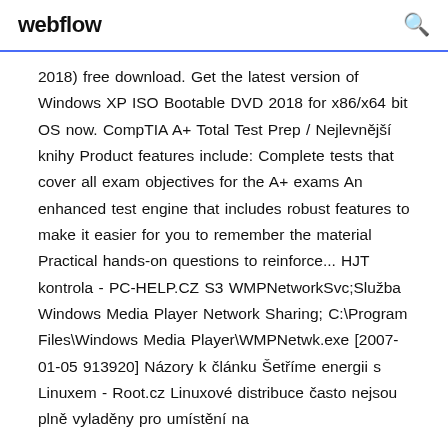webflow
2018) free download. Get the latest version of Windows XP ISO Bootable DVD 2018 for x86/x64 bit OS now. CompTIA A+ Total Test Prep / Nejlevnější knihy Product features include: Complete tests that cover all exam objectives for the A+ exams An enhanced test engine that includes robust features to make it easier for you to remember the material Practical hands-on questions to reinforce... HJT kontrola - PC-HELP.CZ S3 WMPNetworkSvc;Služba Windows Media Player Network Sharing; C:\Program Files\Windows Media Player\WMPNetwk.exe [2007-01-05 913920] Názory k článku Šetříme energii s Linuxem - Root.cz Linuxové distribuce často nejsou plně vyladěny pro umístění na